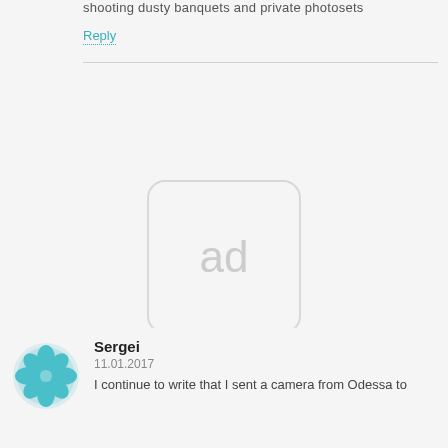shooting dusty banquets and private photosets
Reply
[Figure (other): Ad placeholder box with rounded corners containing the text 'ad' in light gray]
[Figure (illustration): Teal/green decorative mandala-style avatar icon for user Sergei]
Sergei
11.01.2017
I continue to write that I sent a camera from Odessa to